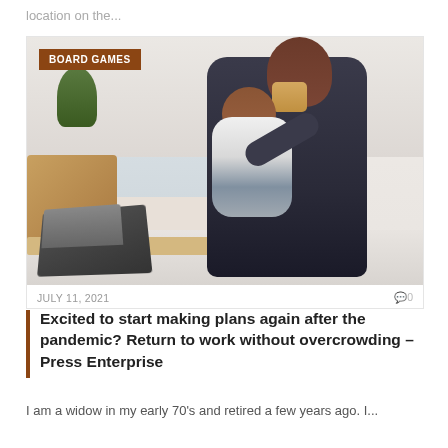location on the...
[Figure (photo): A man holding a baby in a carrier while drinking from a mug, with a laptop on the counter in the foreground, in a home setting. Category badge reading 'BOARD GAMES' overlaid top-left.]
JULY 11, 2021   🗨 0
Excited to start making plans again after the pandemic? Return to work without overcrowding – Press Enterprise
I am a widow in my early 70's and retired a few years ago. I...